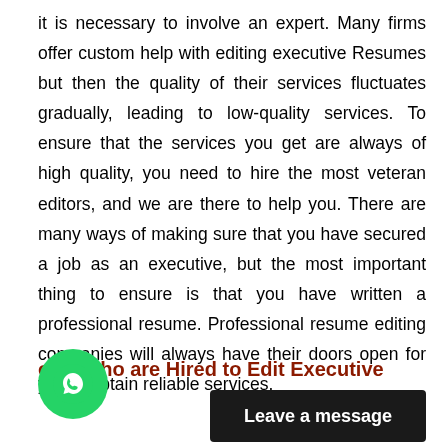it is necessary to involve an expert. Many firms offer custom help with editing executive Resumes but then the quality of their services fluctuates gradually, leading to low-quality services. To ensure that the services you get are always of high quality, you need to hire the most veteran editors, and we are there to help you. There are many ways of making sure that you have secured a job as an executive, but the most important thing to ensure is that you have written a professional resume. Professional resume editing companies will always have their doors open for you to obtain reliable services.
ople who are Hired to Edit Executive
[Figure (logo): WhatsApp green circular icon]
[Figure (other): Dark button with text 'Leave a message']